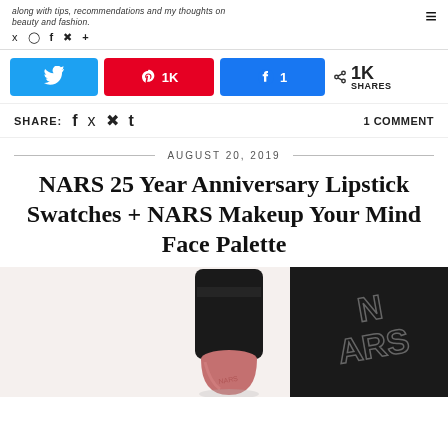along with tips, recommendations and my thoughts on beauty and fashion.
SHARE:  f  t  p  t    1 COMMENT
Tweet  1K Pin  1 Facebook  1K SHARES
AUGUST 20, 2019
NARS 25 Year Anniversary Lipstick Swatches + NARS Makeup Your Mind Face Palette
[Figure (photo): NARS lipstick in a rosy-pink shade partly out of its black tube, alongside a black NARS compact with the brand logo visible]